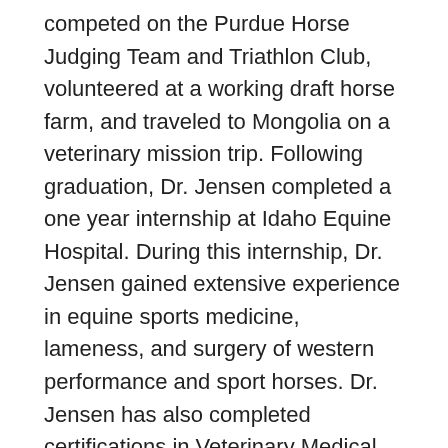competed on the Purdue Horse Judging Team and Triathlon Club, volunteered at a working draft horse farm, and traveled to Mongolia on a veterinary mission trip. Following graduation, Dr. Jensen completed a one year internship at Idaho Equine Hospital. During this internship, Dr. Jensen gained extensive experience in equine sports medicine, lameness, and surgery of western performance and sport horses. Dr. Jensen has also completed certifications in Veterinary Medical Acupuncture and Veterinary Spinal Manipulative Therapy, and is a member of the College of Animal Chiropractors. Dr. Jensen’s primary interests include integrative sports medicine, regenerative therapies, and ultrasonography. Outside of work, Dr. Jensen enjoys spending time with his wife, Lindsay, his 2 daughters, being outdoors, and being involved with his church.